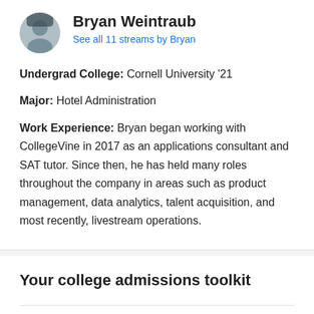Bryan Weintraub
See all 11 streams by Bryan
Undergrad College: Cornell University '21
Major: Hotel Administration
Work Experience: Bryan began working with CollegeVine in 2017 as an applications consultant and SAT tutor. Since then, he has held many roles throughout the company in areas such as product management, data analytics, talent acquisition, and most recently, livestream operations.
Your college admissions toolkit
| TOPIC | WATCH |
| --- | --- |